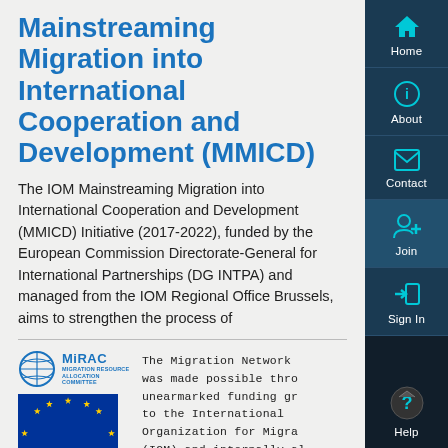Mainstreaming Migration into International Cooperation and Development (MMICD)
The IOM Mainstreaming Migration into International Cooperation and Development (MMICD) Initiative (2017-2022), funded by the European Commission Directorate-General for International Partnerships (DG INTPA) and managed from the IOM Regional Office Brussels, aims to strengthen the process of
[Figure (logo): MiRAC Migration Resource Allocation Committee logo with globe icon]
[Figure (illustration): European Union flag — blue background with circle of 12 gold stars]
The Migration Network was made possible through unearmarked funding granted to the International Organization for Migration (IOM) and internally allocated through the Migration Resource Allocation
[Figure (infographic): Right sidebar navigation with Home, About, Contact, Join, Sign In, Help icons in dark teal/navy]
[Figure (infographic): Help button with question mark at bottom of sidebar]